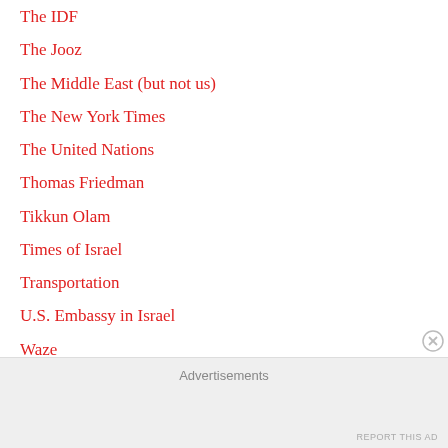The IDF
The Jooz
The Middle East (but not us)
The New York Times
The United Nations
Thomas Friedman
Tikkun Olam
Times of Israel
Transportation
U.S. Embassy in Israel
Waze
Where are they now?
WOKE
World News not about Jews
Advertisements
REPORT THIS AD